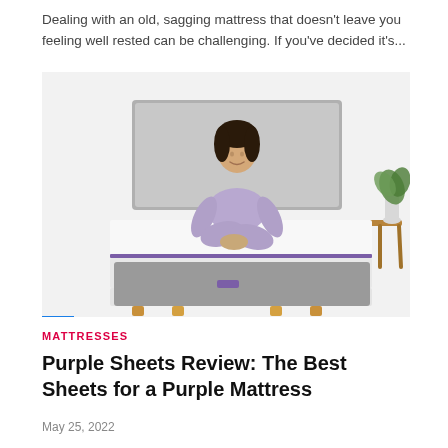Dealing with an old, sagging mattress that doesn't leave you feeling well rested can be challenging. If you've decided it's...
[Figure (photo): Woman in lavender loungewear sitting cross-legged on a white Purple mattress with gray upholstered headboard and base, wooden legs, with a small wooden side table and plant in the background]
MATTRESSES
Purple Sheets Review: The Best Sheets for a Purple Mattress
May 25, 2022